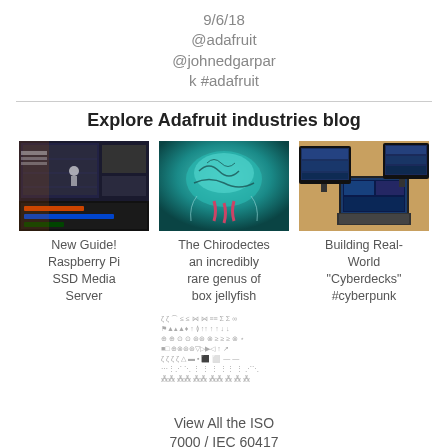9/6/18
@adafruit
@johnedgarpark #adafruit
Explore Adafruit industries blog
[Figure (photo): Screenshot of a video editing or streaming software interface with dark UI]
New Guide! Raspberry Pi SSD Media Server
[Figure (photo): Close-up photo of a Chirodectes box jellyfish underwater, teal/blue tones]
The Chirodectes an incredibly rare genus of box jellyfish
[Figure (photo): Photo of a cyberdeck computer setup with multiple monitors and keyboard]
Building Real-World "Cyberdecks" #cyberpunk
[Figure (illustration): Grid of ISO 7000 / IEC 60417 symbols/icons in rows]
View All the ISO 7000 / IEC 60417